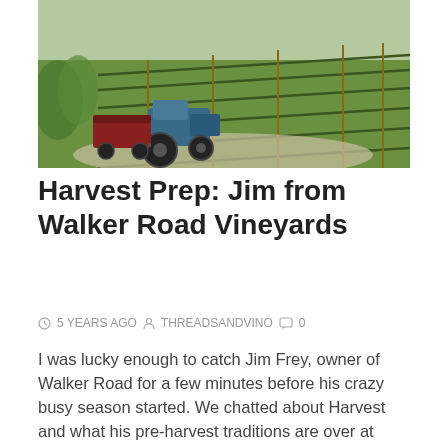[Figure (photo): A tractor with a red wagon attachment driving through rows of grapevines at a vineyard on a sunny day.]
Harvest Prep: Jim from Walker Road Vineyards
5 YEARS AGO  THREADSANDVINO  0
I was lucky enough to catch Jim Frey, owner of Walker Road for a few minutes before his crazy busy season started. We chatted about Harvest and what his pre-harvest traditions are over at Walker Road Vineyards. How do you get ready for harvest? “We start by harvesting our Marquette grapes.” The Marquette grape is
Read More »